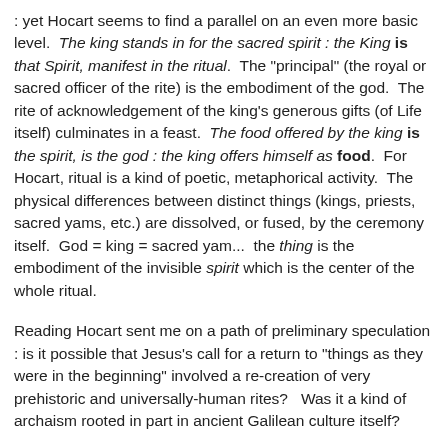: yet Hocart seems to find a parallel on an even more basic level.  The king stands in for the sacred spirit : the King is that Spirit, manifest in the ritual.  The "principal" (the royal or sacred officer of the rite) is the embodiment of the god.  The rite of acknowledgement of the king's generous gifts (of Life itself) culminates in a feast.  The food offered by the king is the spirit, is the god : the king offers himself as food.  For Hocart, ritual is a kind of poetic, metaphorical activity.  The physical differences between distinct things (kings, priests, sacred yams, etc.) are dissolved, or fused, by the ceremony itself.  God = king = sacred yam...  the thing is the embodiment of the invisible spirit which is the center of the whole ritual.
Reading Hocart sent me on a path of preliminary speculation : is it possible that Jesus's call for a return to "things as they were in the beginning" involved a re-creation of very prehistoric and universally-human rites?   Was it a kind of archaism rooted in part in ancient Galilean culture itself?
Hocart emphasizes the communal and "traditional" character of prehistoric human ritual.  It's almost like a tribal "mind-set"